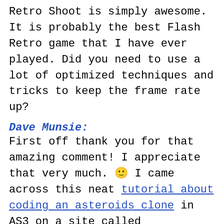Retro Shoot is simply awesome. It is probably the best Flash Retro game that I have ever played. Did you need to use a lot of optimized techniques and tricks to keep the frame rate up?
Dave Munsie:
First off thank you for that amazing comment! I appreciate that very much. 🙂 I came across this neat tutorial about coding an asteroids clone in AS3 on a site called “8BitRocket.com”. 🙂 lol. At first I was using standard display sprites for everything and I